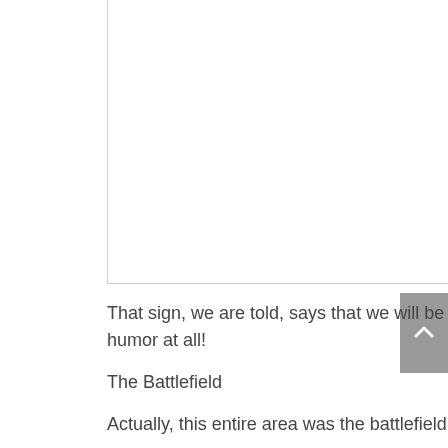[Figure (photo): White/blank image area with a border on the left and bottom sides]
That sign, we are told, says that we will be imprisoned or shot if caught crossing this border.....no sense of humor at all!
The Battlefield
Actually, this entire area was the battlefield, and these